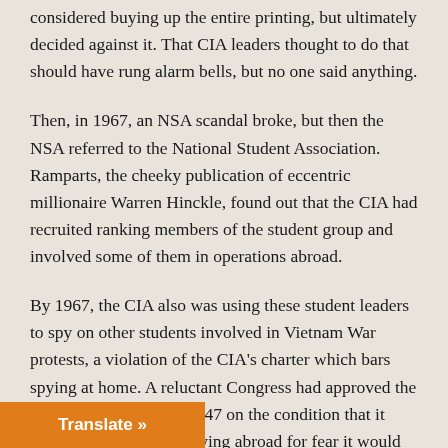considered buying up the entire printing, but ultimately decided against it. That CIA leaders thought to do that should have rung alarm bells, but no one said anything.
Then, in 1967, an NSA scandal broke, but then the NSA referred to the National Student Association. Ramparts, the cheeky publication of eccentric millionaire Warren Hinckle, found out that the CIA had recruited ranking members of the student group and involved some of them in operations abroad.
By 1967, the CIA also was using these student leaders to spy on other students involved in Vietnam War protests, a violation of the CIA's charter which bars spying at home. A reluctant Congress had approved the creation of the CIA in 1947 on the condition that it limit its operations to spying abroad for fear it would become an American Gestapo.
However, when these illegal operations were exposed, no one went to jail. No one was punished. Sure, the CIA was embarrassed again, and [Translate »] nsider maintaining the secrets of the agency as [cut off]